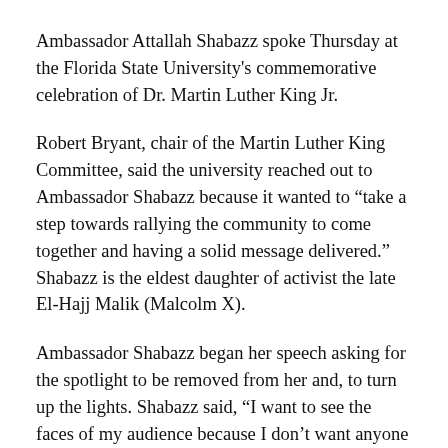Ambassador Attallah Shabazz spoke Thursday at the Florida State University's commemorative celebration of Dr. Martin Luther King Jr.
Robert Bryant, chair of the Martin Luther King Committee, said the university reached out to Ambassador Shabazz because it wanted to “take a step towards rallying the community to come together and having a solid message delivered.” Shabazz is the eldest daughter of activist the late El-Hajj Malik (Malcolm X).
Ambassador Shabazz began her speech asking for the spotlight to be removed from her and, to turn up the lights. Shabazz said, “I want to see the faces of my audience because I don’t want anyone thinking I’m shy or reserved.”
After having traveled on two small planes to finally make it to Tallahassee, she expresses gratitude for being in such a